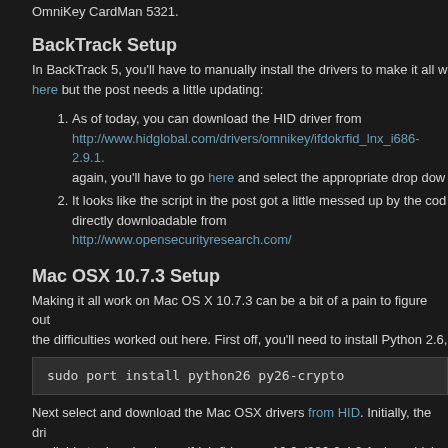OmniKey CardMan 5321.
BackTrack Setup
In BackTrack 5, you'll have to manually install the drivers to make it all w here but the post needs a little updating:
1. As of today, you can download the HID driver from http://www.hidglobal.com/drivers/omnikey/ifdokrfid_lnx_i686-2.9.1... again, you'll have to go here and select the appropriate drop dow
2. It looks like the script in the post got a little messed up by the cod directly downloadable from http://www.opensecurityresearch.com/
Mac OSX 10.7.3 Setup
Making it all work on Mac OS X 10.7.3 can be a bit of a pain to figure out the difficulties worked out here. First off, you'll need to install Python 2.6,
sudo port install python26 py26-crypto
Next select and download the Mac OSX drivers from HID. Initially, the dri available to download was ifdokrfid_mac_10.6_i386-2.4.0.1.pkg, which d to modify the installer so that it worked for 10.7:
vi ifdokrfid_mac_10.6_i386-2.4.0.1.pkg/Contents/Resources
and change line 31 from this: